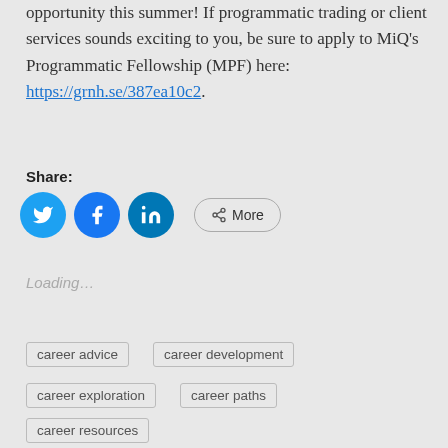opportunity this summer! If programmatic trading or client services sounds exciting to you, be sure to apply to MiQ's Programmatic Fellowship (MPF) here: https://grnh.se/387ea10c2.
Share:
[Figure (infographic): Social share buttons: Twitter (blue circle), Facebook (blue circle), LinkedIn (dark blue circle), and a More button with share icon]
Loading...
career advice
career development
career exploration
career paths
career resources
career success
Day in the Life
job search tips